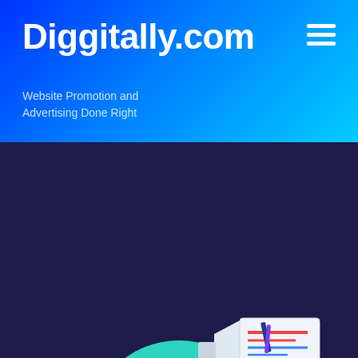Diggitally.com
Website Promotion and Advertising Done Right
[Figure (illustration): Digital marketing illustration showing a person viewed from behind, seated in front of a monitor displaying a colorful bar chart with a rising line graph, a laptop showing gears/settings, and a document/megaphone graphic above, all on a teal circular background within a dark navy setting]